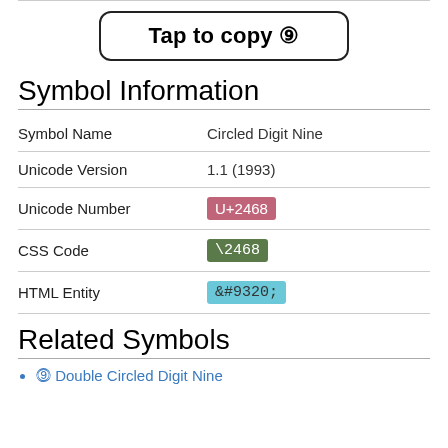Tap to copy ⑨
Symbol Information
| Symbol Name | Circled Digit Nine |
| Unicode Version | 1.1 (1993) |
| Unicode Number | U+2468 |
| CSS Code | \2468 |
| HTML Entity | &#9320; |
Related Symbols
⓽ Double Circled Digit Nine